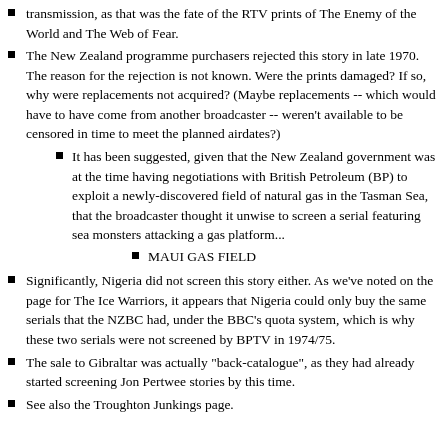transmission, as that was the fate of the RTV prints of The Enemy of the World and The Web of Fear.
The New Zealand programme purchasers rejected this story in late 1970. The reason for the rejection is not known. Were the prints damaged? If so, why were replacements not acquired? (Maybe replacements -- which would have to have come from another broadcaster -- weren't available to be censored in time to meet the planned airdates?)
It has been suggested, given that the New Zealand government was at the time having negotiations with British Petroleum (BP) to exploit a newly-discovered field of natural gas in the Tasman Sea, that the broadcaster thought it unwise to screen a serial featuring sea monsters attacking a gas platform...
MAUI GAS FIELD
Significantly, Nigeria did not screen this story either. As we've noted on the page for The Ice Warriors, it appears that Nigeria could only buy the same serials that the NZBC had, under the BBC's quota system, which is why these two serials were not screened by BPTV in 1974/75.
The sale to Gibraltar was actually "back-catalogue", as they had already started screening Jon Pertwee stories by this time.
See also the Troughton Junkings page.